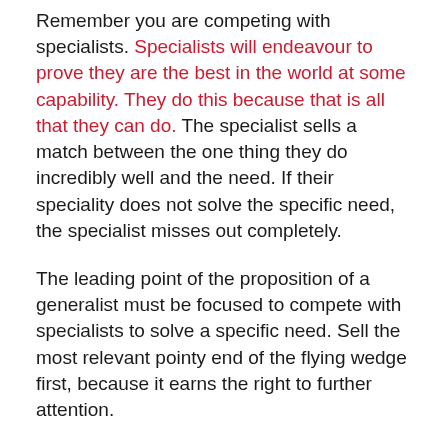Remember you are competing with specialists. Specialists will endeavour to prove they are the best in the world at some capability. They do this because that is all that they can do. The specialist sells a match between the one thing they do incredibly well and the need. If their speciality does not solve the specific need, the specialist misses out completely.
The leading point of the proposition of a generalist must be focused to compete with specialists to solve a specific need. Sell the most relevant pointy end of the flying wedge first, because it earns the right to further attention.
Meet the Situation then Differentiate
Meeting the need of the buyer is only a ticket to the next stage of the conversation. Everyone who is